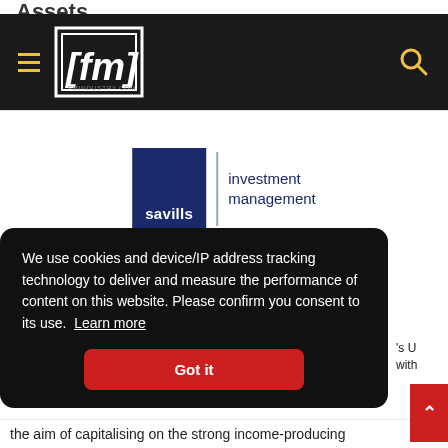Assets
[Figure (logo): FM Industry website header with hamburger menu, fm logo in white box on dark background, and search icon]
[Figure (logo): Savills Investment Management logo — dark blue square with 'savills' in white text, vertical divider, 'investment management' in dark blue text]
We use cookies and device/IP address tracking technology to deliver and measure the performance of content on this website. Please confirm you consent to its use. Learn more
Got it
's U with the aim of capitalising on the strong income-producing